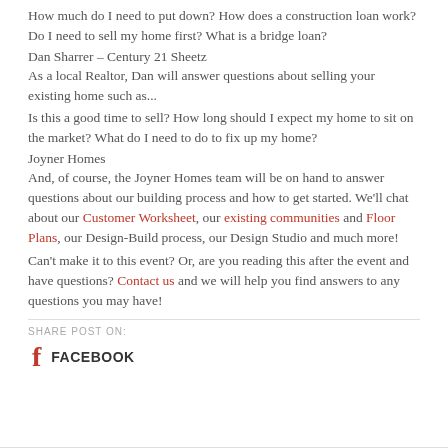How much do I need to put down? How does a construction loan work? Do I need to sell my home first? What is a bridge loan?
Dan Sharrer – Century 21 Sheetz
As a local Realtor, Dan will answer questions about selling your existing home such as...
Is this a good time to sell? How long should I expect my home to sit on the market? What do I need to do to fix up my home?
Joyner Homes
And, of course, the Joyner Homes team will be on hand to answer questions about our building process and how to get started. We'll chat about our Customer Worksheet, our existing communities and Floor Plans, our Design-Build process, our Design Studio and much more!
Can't make it to this event? Or, are you reading this after the event and have questions? Contact us and we will help you find answers to any questions you may have!
SHARE POST ON:
FACEBOOK